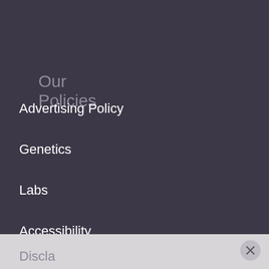Our Policies
Advertising Policy
Genetics
Labs
Accessibility
Editorial Policy
Cookie Policy
Corrections Policy
Discla...